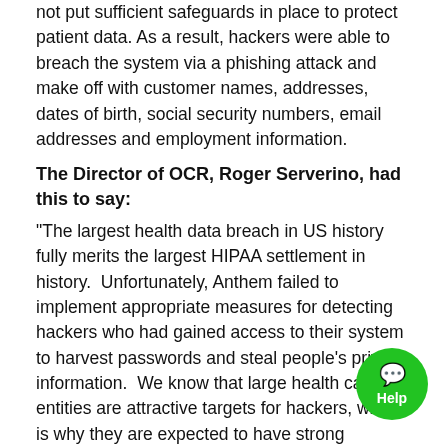not put sufficient safeguards in place to protect patient data. As a result, hackers were able to breach the system via a phishing attack and make off with customer names, addresses, dates of birth, social security numbers, email addresses and employment information.
The Director of OCR, Roger Serverino, had this to say:
"The largest health data breach in US history fully merits the largest HIPAA settlement in history.  Unfortunately, Anthem failed to implement appropriate measures for detecting hackers who had gained access to their system to harvest passwords and steal people's private information.  We know that large health care entities are attractive targets for hackers, which is why they are expected to have strong password policies and to monitor and respond to security incidents in a timely fashion or risk enforcement by OCR."
Tim Sadler, the CEO of Tessian, added the following:
"During the three years since the Anthem breach took place, spear-phishing attacks have increased significantly in their indistinguishability and effectiveness. Yet human error has remained inherent, inevitable, and